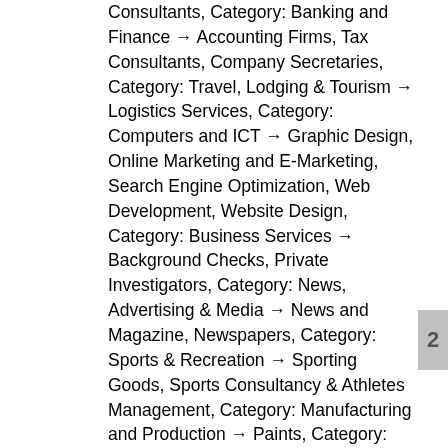Consultants, Category: Banking and Finance → Accounting Firms, Tax Consultants, Company Secretaries, Category: Travel, Lodging & Tourism → Logistics Services, Category: Computers and ICT → Graphic Design, Online Marketing and E-Marketing, Search Engine Optimization, Web Development, Website Design, Category: Business Services → Background Checks, Private Investigators, Category: News, Advertising & Media → News and Magazine, Newspapers, Category: Sports & Recreation → Sporting Goods, Sports Consultancy & Athletes Management, Category: Manufacturing and Production → Paints, Category: Banking and Finance → Accounting Firms, Tax Consultants, Babajide Babs Daramola & Co (Chartered Accountant), Bhn Limited (Transport, Logistics And Haulage). Obafemi Owode is one of the twenty (20) Local Government Areas (LGAs) in Ogun State, Nigeria.It is made up of several towns and districts that make use of varying postal or zip codes. Address: 52, Adigbe road